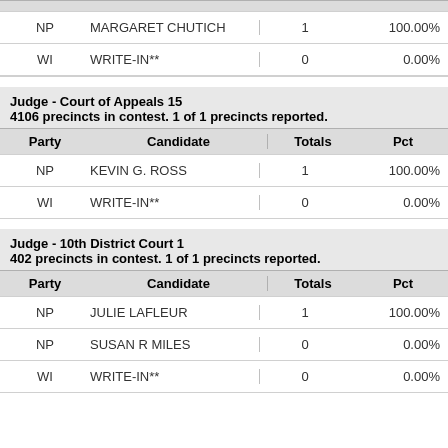| Party | Candidate | Totals | Pct |
| --- | --- | --- | --- |
| NP | MARGARET CHUTICH | 1 | 100.00% |
| WI | WRITE-IN** | 0 | 0.00% |
Judge - Court of Appeals 15
4106 precincts in contest. 1 of 1 precincts reported.
| Party | Candidate | Totals | Pct |
| --- | --- | --- | --- |
| NP | KEVIN G. ROSS | 1 | 100.00% |
| WI | WRITE-IN** | 0 | 0.00% |
Judge - 10th District Court 1
402 precincts in contest. 1 of 1 precincts reported.
| Party | Candidate | Totals | Pct |
| --- | --- | --- | --- |
| NP | JULIE LAFLEUR | 1 | 100.00% |
| NP | SUSAN R MILES | 0 | 0.00% |
| WI | WRITE-IN** | 0 | 0.00% |